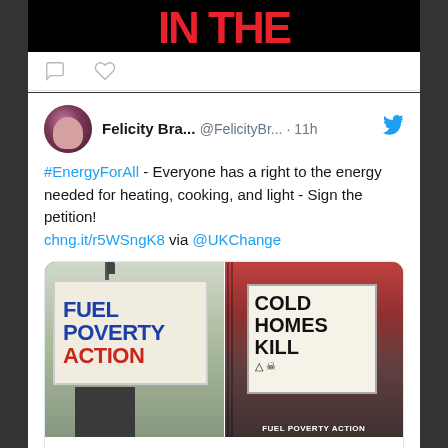[Figure (screenshot): Top of partial tweet showing red text 'IN THE' on dark background with action icons (comment, heart) below]
[Figure (screenshot): Twitter/X tweet by Felicity Bra... (@FelicityBr...) posted 11h ago. Text: #EnergyForAll - Everyone has a right to the energy needed for heating, cooking, and light - Sign the petition! chng.it/r5WSngK8 via @UKChange. Embedded image card shows two protest photos: left sign reads FUEL POVERTY ACTION, right sign reads COLD HOMES KILL with skull symbol, labeled FUEL POVERTY ACTION at bottom. Link card shows change.org / Sign the Petition.]
#EnergyForAll - Everyone has a right to the energy needed for heating, cooking, and light - Sign the petition! chng.it/r5WSngK8 via @UKChange
change.org
Sign the Petition